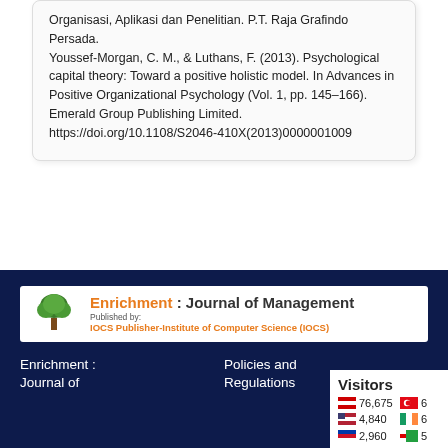Organisasi, Aplikasi dan Penelitian. P.T. Raja Grafindo Persada. Youssef-Morgan, C. M., & Luthans, F. (2013). Psychological capital theory: Toward a positive holistic model. In Advances in Positive Organizational Psychology (Vol. 1, pp. 145–166). Emerald Group Publishing Limited. https://doi.org/10.1108/S2046-410X(2013)0000001009
[Figure (logo): Enrichment: Journal of Management banner — Published by IOCS Publisher-Institute of Computer Science (IOCS)]
Enrichment : Journal of
Policies and Regulations
[Figure (infographic): Visitors counter box showing: 76,675 (Indonesian flag), 4,840 (US flag), 2,960 (Philippine flag), and partial counts with Turkish and Irish flags]